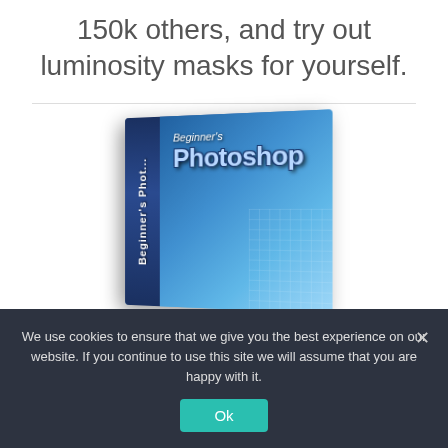150k others, and try out luminosity masks for yourself.
[Figure (photo): A 3D software box for 'Beginner's Photoshop' with a blue metallic design and architectural imagery on the front, showing the spine and front face of the box.]
We use cookies to ensure that we give you the best experience on our website. If you continue to use this site we will assume that you are happy with it.